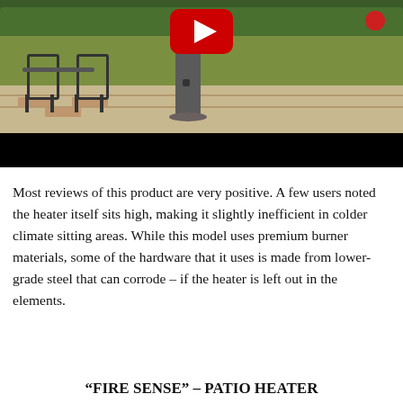[Figure (screenshot): A YouTube video thumbnail/player showing a patio heater outdoors with garden chairs and lawn in the background. A red YouTube play button is visible at the top center. The bottom portion of the video player is black.]
Most reviews of this product are very positive. A few users noted the heater itself sits high, making it slightly inefficient in colder climate sitting areas. While this model uses premium burner materials, some of the hardware that it uses is made from lower-grade steel that can corrode – if the heater is left out in the elements.
“FIRE SENSE” – PATIO HEATER